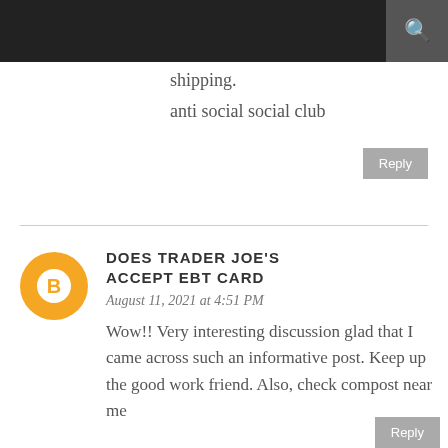shipping.
anti social social club
Reply
DOES TRADER JOE'S ACCEPT EBT CARD
August 11, 2021 at 4:51 PM
Wow!! Very interesting discussion glad that I came across such an informative post. Keep up the good work friend. Also, check compost near me
Reply